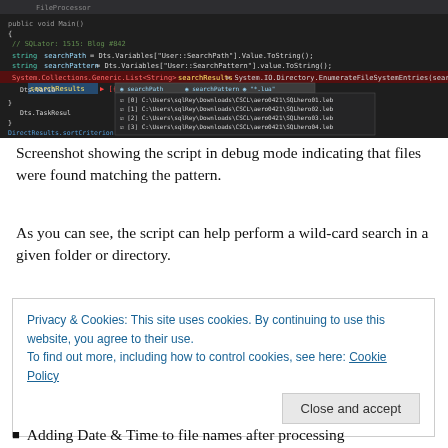[Figure (screenshot): Screenshot of a code editor (Visual Studio Code) in debug mode showing C# code. The code includes string variables for searchPath and searchPattern, a highlighted line calling System.Collections.Generic.List<string> searchResults = System.IO.Directory.EnumerateFileSystemEntries(...).ToList(), and a debug autocomplete/watch panel showing multiple file paths matching a pattern.]
Screenshot showing the script in debug mode indicating that files were found matching the pattern.
As you can see, the script can help perform a wild-card search in a given folder or directory.
Privacy & Cookies: This site uses cookies. By continuing to use this website, you agree to their use.
To find out more, including how to control cookies, see here: Cookie Policy
[Close and accept button]
Adding Date & Time to file names after processing